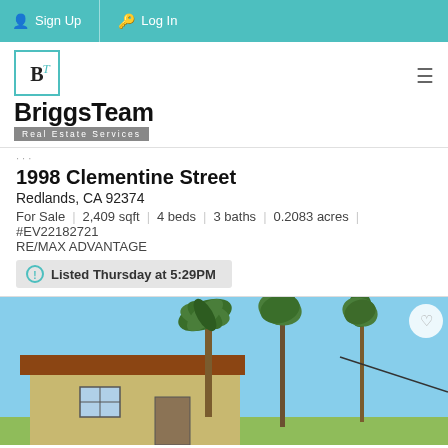Sign Up | Log In
[Figure (logo): BriggsTeam Real Estate Services logo with teal TB monogram]
· · ·
1998 Clementine Street
Redlands, CA 92374
For Sale | 2,409 sqft | 4 beds | 3 baths | 0.2083 acres |
#EV22182721
RE/MAX ADVANTAGE
Listed Thursday at 5:29PM
[Figure (photo): Exterior photo of a house with palm trees against a blue sky in Redlands CA]